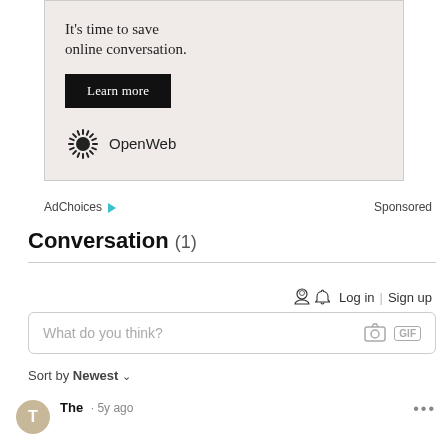[Figure (other): OpenWeb advertisement with text 'It's time to save online conversation.', a black 'Learn more' button, and the OpenWeb logo with sunburst icon.]
AdChoices ▷   Sponsored
Conversation (1)
Log in | Sign up
What do you think?
Sort by Newest
The · 5y ago